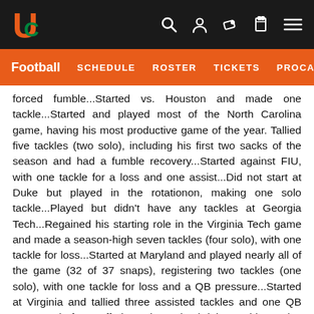University of Miami Athletics - Football
Football  SCHEDULE  ROSTER  TICKETS  PROCANE
forced fumble...Started vs. Houston and made one tackle...Started and played most of the North Carolina game, having his most productive game of the year. Tallied five tackles (two solo), including his first two sacks of the season and had a fumble recovery...Started against FIU, with one tackle for a loss and one assist...Did not start at Duke but played in the rotationon, making one solo tackle...Played but didn't have any tackles at Georgia Tech...Regained his starting role in the Virginia Tech game and made a season-high seven tackles (four solo), with one tackle for loss...Started at Maryland and played nearly all of the game (32 of 37 snaps), registering two tackles (one solo), with one tackle for loss and a QB pressure...Started at Virginia and tallied three assisted tackles and one QB pressure before suffering a lower back injury...Did not play against Boston College (back)...Started in the MPC Computers Bowl vs. Nevada and made one assisted tackle